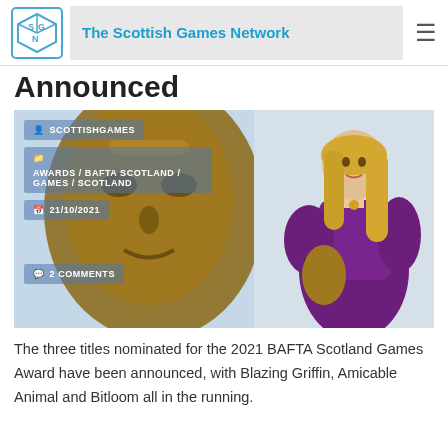The Scottish Games Network
Announced
[Figure (photo): A woman with long blonde hair wearing a purple dress stands next to a large bronze BAFTA mask trophy. Overlaid text shows metadata: SCOTTISHGAMES, AWARDS / BAFTA SCOTLAND / GAMES / SCOTLAND, 21/10/2021, 2 COMMENTS]
The three titles nominated for the 2021 BAFTA Scotland Games Award have been announced, with Blazing Griffin, Amicable Animal and Bitloom all in the running.